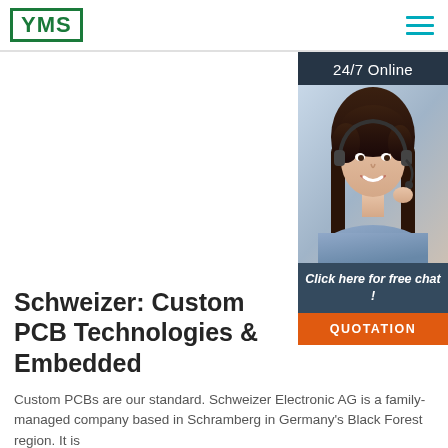YMS
[Figure (photo): Customer service representative with headset smiling, with '24/7 Online' banner, 'Click here for free chat!' text, and 'QUOTATION' orange button below]
Schweizer: Custom PCB Technologies & Embedded
Custom PCBs are our standard. Schweizer Electronic AG is a family-managed company based in Schramberg in Germany's Black Forest region. It is